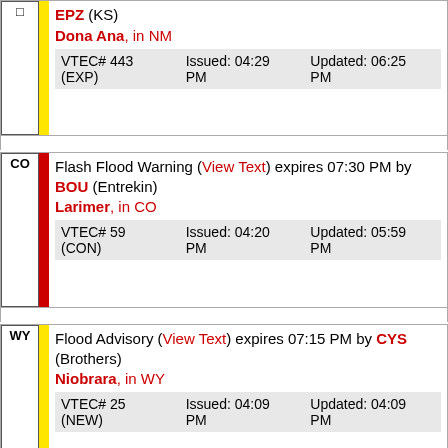EPZ (KS) Dona Ana, in NM VTEC# 443 (EXP) Issued: 04:29 PM Updated: 06:25 PM
Flash Flood Warning (View Text) expires 07:30 PM by BOU (Entrekin) Larimer, in CO VTEC# 59 (CON) Issued: 04:20 PM Updated: 05:59 PM
Flood Advisory (View Text) expires 07:15 PM by CYS (Brothers) Niobrara, in WY VTEC# 25 (NEW) Issued: 04:09 PM Updated: 04:09 PM
Hazardous Seas Warning (View Text) expires